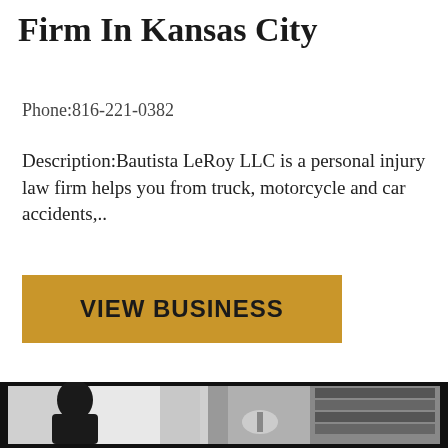Firm In Kansas City
Phone:816-221-0382
Description:Bautista LeRoy LLC is a personal injury law firm helps you from truck, motorcycle and car accidents,..
[Figure (other): Golden/yellow button with text VIEW BUSINESS]
[Figure (photo): Black and white photograph of a law office showing the silhouette of a person standing by a window on the left, and a bookshelf filled with legal books on the right, with a judge's wig on a stand in the center]